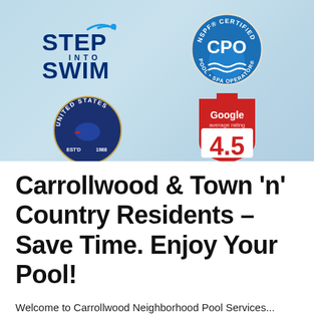[Figure (illustration): Hero banner image showing a pool background with four logos: Step Into Swim, NSPF Certified CPO (Pool Spa Operator), United States Swimming (Est'd 1988), and Google average rating 4.5]
Carrollwood & Town 'n' Country Residents – Save Time. Enjoy Your Pool!
Welcome to Carrollwood Neighborhood Pool Services...